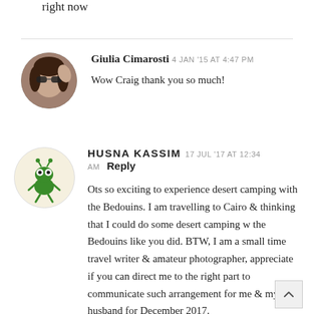right now
Giulia Cimarosti 4 JAN '15 AT 4:47 PM
Wow Craig thank you so much!
HUSNA KASSIM 17 JUL '17 AT 12:34 AM Reply
Ots so exciting to experience desert camping with the Bedouins. I am travelling to Cairo & thinking that I could do some desert camping w the Bedouins like you did. BTW, I am a small time travel writer & amateur photographer, appreciate if you can direct me to the right part to communicate such arrangement for me & my husband for December 2017.